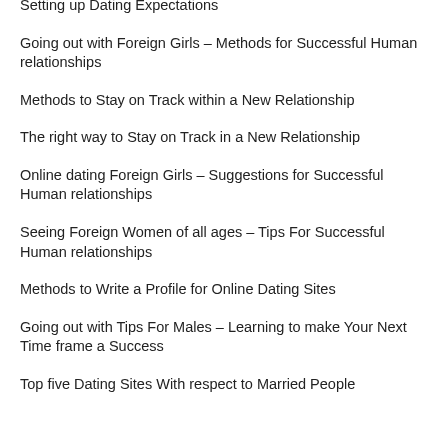Setting up Dating Expectations
Going out with Foreign Girls – Methods for Successful Human relationships
Methods to Stay on Track within a New Relationship
The right way to Stay on Track in a New Relationship
Online dating Foreign Girls – Suggestions for Successful Human relationships
Seeing Foreign Women of all ages – Tips For Successful Human relationships
Methods to Write a Profile for Online Dating Sites
Going out with Tips For Males – Learning to make Your Next Time frame a Success
Top five Dating Sites With respect to Married People